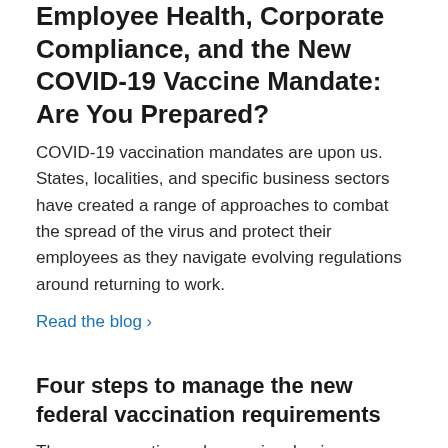Employee Health, Corporate Compliance, and the New COVID-19 Vaccine Mandate: Are You Prepared?
COVID-19 vaccination mandates are upon us. States, localities, and specific business sectors have created a range of approaches to combat the spread of the virus and protect their employees as they navigate evolving regulations around returning to work.
Read the blog ›
Four steps to manage the new federal vaccination requirements
The new executive order requires businesses with more than 100 employees to ensure workers are vaccinated or tested once a week. Find out how you can develop a robust COVID-19 employee vaccination and testing policy and enable your people to confirm